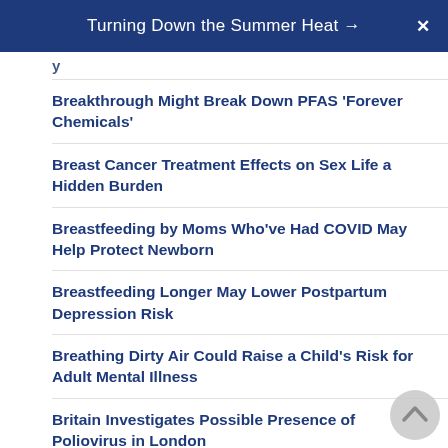Turning Down the Summer Heat →   X
Breakthrough Might Break Down PFAS 'Forever Chemicals'
Breast Cancer Treatment Effects on Sex Life a Hidden Burden
Breastfeeding by Moms Who've Had COVID May Help Protect Newborn
Breastfeeding Longer May Lower Postpartum Depression Risk
Breathing Dirty Air Could Raise a Child's Risk for Adult Mental Illness
Britain Investigates Possible Presence of Poliovirus in London
Bumble Bee Clams Recalled Due to PFAS Chemical
Can Food From an Infected Cook Give You COVID-19?